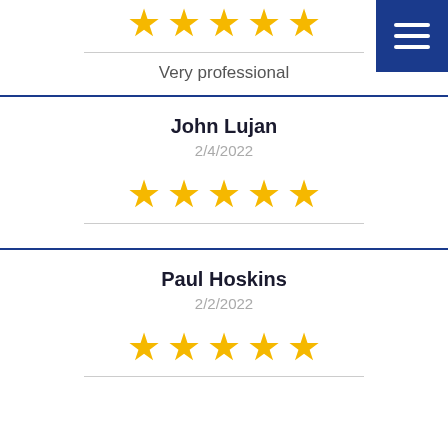[Figure (other): 5 gold stars rating]
Very professional
John Lujan
2/4/2022
[Figure (other): 5 gold stars rating]
Paul Hoskins
2/2/2022
[Figure (other): 5 gold stars rating]